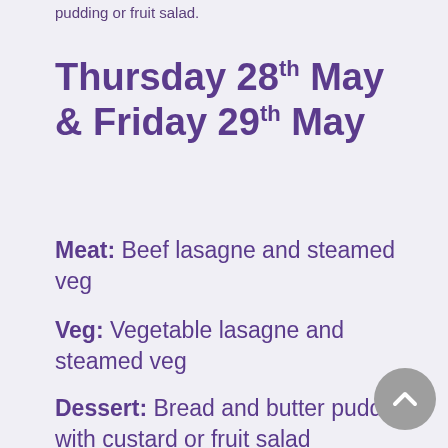pudding or fruit salad.
Thursday 28th May & Friday 29th May
Meat: Beef lasagne and steamed veg
Veg: Vegetable lasagne and steamed veg
Dessert: Bread and butter pudding with custard or fruit salad